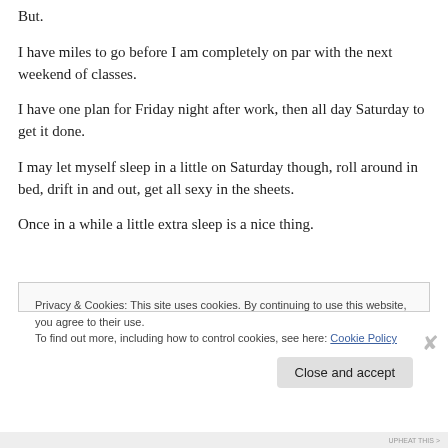But.
I have miles to go before I am completely on par with the next weekend of classes.
I have one plan for Friday night after work, then all day Saturday to get it done.
I may let myself sleep in a little on Saturday though, roll around in bed, drift in and out, get all sexy in the sheets.
Once in a while a little extra sleep is a nice thing.
Privacy & Cookies: This site uses cookies. By continuing to use this website, you agree to their use.
To find out more, including how to control cookies, see here: Cookie Policy
Close and accept